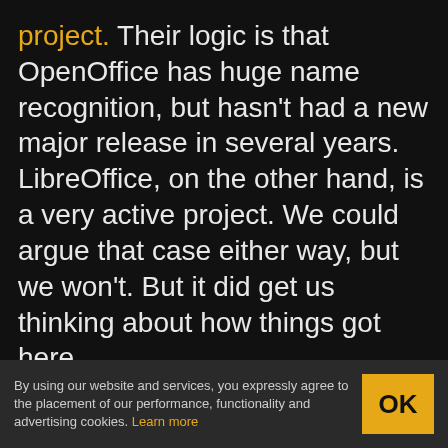project. Their logic is that OpenOffice has huge name recognition, but hasn't had a new major release in several years. LibreOffice, on the other hand, is a very active project. We could argue that case either way, but we won't. But it did get us thinking about how things got here.
It all started when German Marco Börries wrote StarWriter in 1985 for the Zilog Z80. By 1986, he created a company, Star Division, porting the word processor to platforms like CP/M and MSDOS. Eventually, the company
By using our website and services, you expressly agree to the placement of our performance, functionality and advertising cookies. Learn more